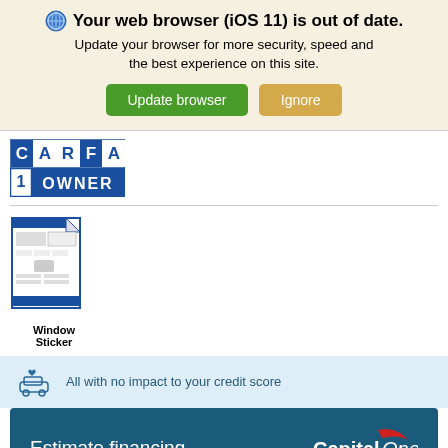Your web browser (iOS 11) is out of date.
Update your browser for more security, speed and the best experience on this site.
[Figure (logo): Carfax 1 Owner badge logo]
[Figure (illustration): Window Sticker document thumbnail]
Window Sticker
All with no impact to your credit score
Estimate financing
[Figure (logo): Capital One logo]
❷Details
Internet Special:
$16,387